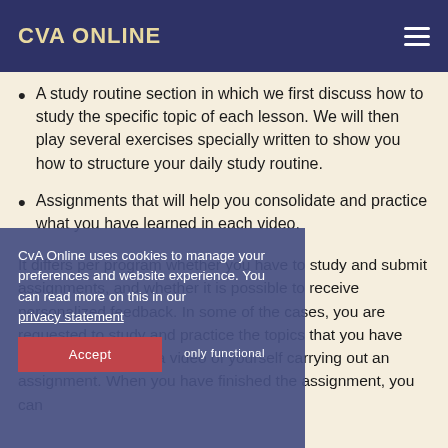CVA ONLINE
A study routine section in which we first discuss how to study the specific topic of each lesson. We will then play several exercises specially written to show you how to structure your daily study routine.
Assignments that will help you consolidate and practice what you have learned in each video.
It differs per program whether you have to study and submit assignments, and whether it is possible to receive personalized feedback. In some of the cases, you are requested to study and practice the topics that you have learned, and record a video of yourself carrying out an assignment. When you have finished the assignment, you can
CvA Online uses cookies to manage your preferences and website experience. You can read more on this in our privacy statement
Accept   only functional